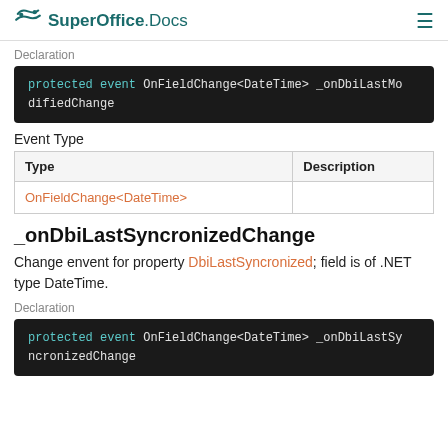SuperOffice.Docs
Declaration
protected event OnFieldChange<DateTime> _onDbiLastModifiedChange
Event Type
| Type | Description |
| --- | --- |
| OnFieldChange<DateTime> |  |
_onDbiLastSyncronizedChange
Change envent for property DbiLastSyncronized; field is of .NET type DateTime.
Declaration
protected event OnFieldChange<DateTime> _onDbiLastSyncronizedChange